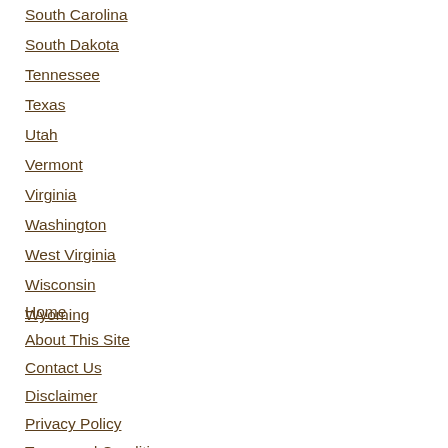South Carolina
South Dakota
Tennessee
Texas
Utah
Vermont
Virginia
Washington
West Virginia
Wisconsin
Wyoming
Home
About This Site
Contact Us
Disclaimer
Privacy Policy
Terms and Conditions